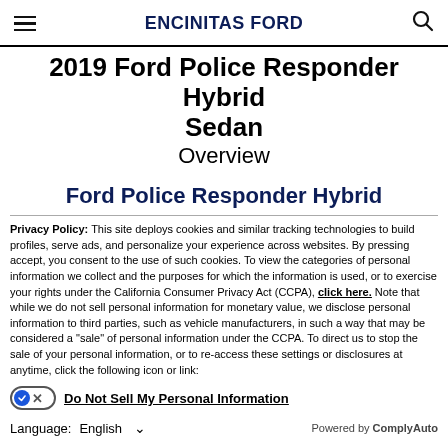ENCINITAS FORD
2019 Ford Police Responder Hybrid Sedan
Overview
Ford Police Responder Hybrid
Privacy Policy: This site deploys cookies and similar tracking technologies to build profiles, serve ads, and personalize your experience across websites. By pressing accept, you consent to the use of such cookies. To view the categories of personal information we collect and the purposes for which the information is used, or to exercise your rights under the California Consumer Privacy Act (CCPA), click here. Note that while we do not sell personal information for monetary value, we disclose personal information to third parties, such as vehicle manufacturers, in such a way that may be considered a "sale" of personal information under the CCPA. To direct us to stop the sale of your personal information, or to re-access these settings or disclosures at anytime, click the following icon or link:
Do Not Sell My Personal Information
Language: English
Powered by ComplyAuto